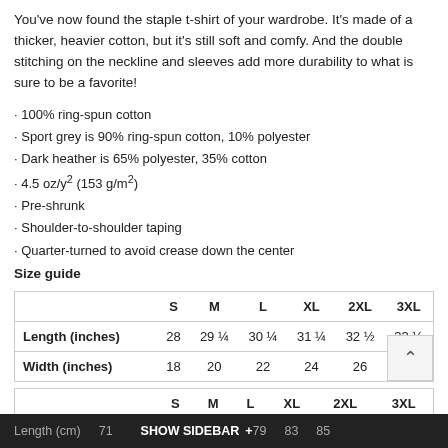You've now found the staple t-shirt of your wardrobe. It's made of a thicker, heavier cotton, but it's still soft and comfy. And the double stitching on the neckline and sleeves add more durability to what is sure to be a favorite!
100% ring-spun cotton
Sport grey is 90% ring-spun cotton, 10% polyester
Dark heather is 65% polyester, 35% cotton
4.5 oz/y² (153 g/m²)
Pre-shrunk
Shoulder-to-shoulder taping
Quarter-turned to avoid crease down the center
Size guide
|  | S | M | L | XL | 2XL | 3XL |
| --- | --- | --- | --- | --- | --- | --- |
| Length (inches) | 28 | 29 ¼ | 30 ¼ | 31 ¼ | 32 ½ | 33 ½ |
| Width (inches) | 18 | 20 | 22 | 24 | 26 | 28 |
|  | S | M | L | XL | 2XL | 3XL |
| --- | --- | --- | --- | --- | --- | --- |
| Length (cm) | 71 |  | 79 |  | 83 |  | 85 |
SHOW SIDEBAR +